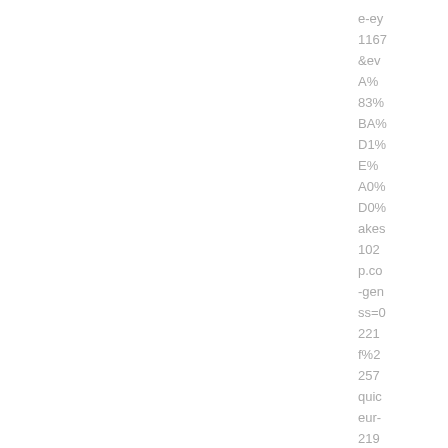e-ey
1167
&ev
A%
83%
BA%
D1%
E%
A0%
D0%
akes
102
p.co
-gen
ss=0
221
f%2
257
quic
eur-
219